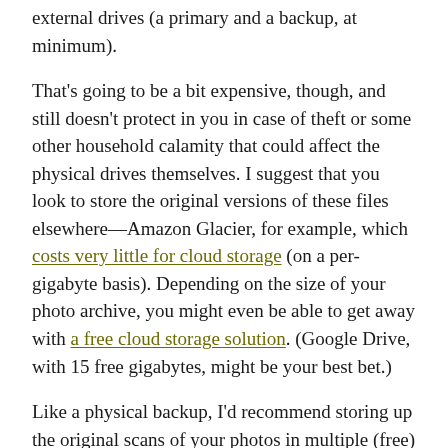external drives (a primary and a backup, at minimum).
That's going to be a bit expensive, though, and still doesn't protect in you in case of theft or some other household calamity that could affect the physical drives themselves. I suggest that you look to store the original versions of these files elsewhere—Amazon Glacier, for example, which costs very little for cloud storage (on a per-gigabyte basis). Depending on the size of your photo archive, you might even be able to get away with a free cloud storage solution. (Google Drive, with 15 free gigabytes, might be your best bet.)
Like a physical backup, I'd recommend storing up the original scans of your photos in multiple (free) locations if possible, which gives you some peace of mind should one ever mysteriously disappear. If your archive is too big for that, just pay for a single trusted service and be done with it—don't break the bank on this task, especially if you can